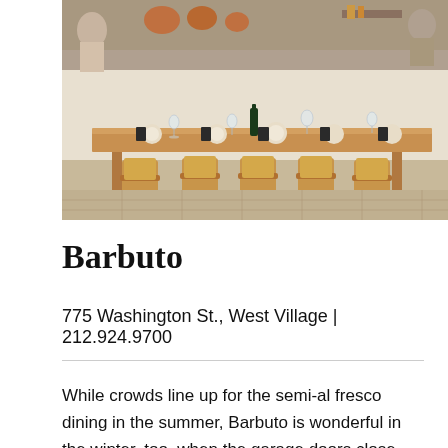[Figure (photo): Interior photo of Barbuto restaurant showing a long wooden communal dining table with wooden chairs, place settings with dark napkins, wine glasses, and a bottle of wine. The background shows a white brick wall, open kitchen with copper pots hanging, and natural light.]
Barbuto
775 Washington St., West Village | 212.924.9700
While crowds line up for the semi-al fresco dining in the summer, Barbuto is wonderful in the winter, too, when the garage doors close and the wood